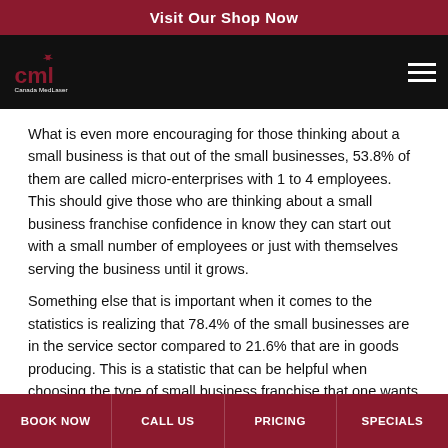Visit Our Shop Now
[Figure (logo): Canada MedLaser logo — stylized 'cml' letters with a maple leaf, white text on black background]
What is even more encouraging for those thinking about a small business is that out of the small businesses, 53.8% of them are called micro-enterprises with 1 to 4 employees. This should give those who are thinking about a small business franchise confidence in know they can start out with a small number of employees or just with themselves serving the business until it grows.
Something else that is important when it comes to the statistics is realizing that 78.4% of the small businesses are in the service sector compared to 21.6% that are in goods producing. This is a statistic that can be helpful when choosing the type of small business franchise that one wants to consider.
The Benefits of A Small Business…
BOOK NOW   CALL US   PRICING   SPECIALS